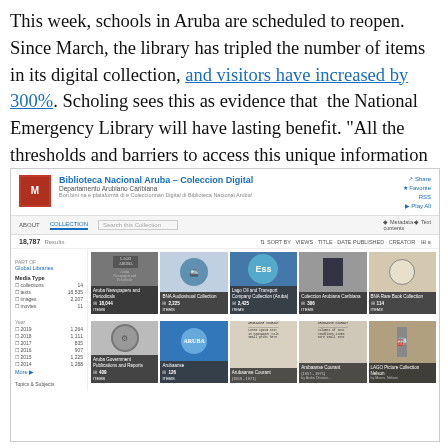This week, schools in Aruba are scheduled to reopen. Since March, the library has tripled the number of items in its digital collection, and visitors have increased by 300%. Scholing sees this as evidence that the National Emergency Library will have lasting benefit. "All the thresholds and barriers to access this unique information have been lifted, once you put it online."
[Figure (screenshot): Screenshot of the Biblioteca Nacional Aruba – Coleccion Digital page on the Internet Archive, showing 18,787 results with a grid of collection thumbnails including Aruba Newspapers and Periodicals (18,044 items), BNA Audiovisual Collection (2,225 items), Lago Oil and Transport Company Collection Aruba (2,425 items), Coleccion Arubiana Caribiana (306 items), BNA Rare Book Collection (114 items), Aruba Government Publications and Reports (409 items), Arubaanse Courant, and LAGO Picture Collection. Sidebar shows filters for Media Type and Year.]